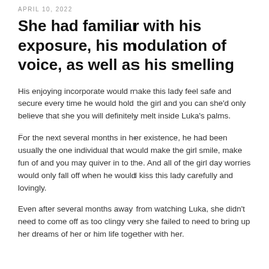APRIL 10, 2022
She had familiar with his exposure, his modulation of voice, as well as his smelling
His enjoying incorporate would make this lady feel safe and secure every time he would hold the girl and you can she'd only believe that she you will definitely melt inside Luka’s palms.
For the next several months in her existence, he had been usually the one individual that would make the girl smile, make fun of and you may quiver in to the. And all of the girl day worries would only fall off when he would kiss this lady carefully and lovingly.
Even after several months away from watching Luka, she didn’t need to come off as too clingy very she failed to need to bring up her dreams of her or him life together with her.